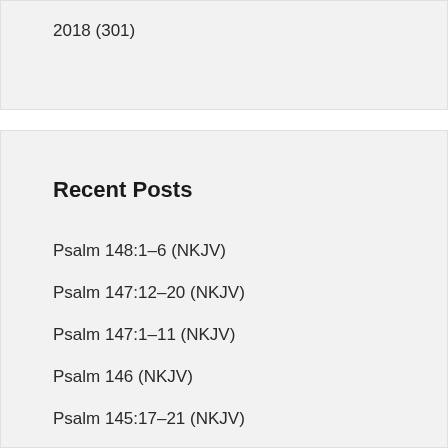2018 (301)
Recent Posts
Psalm 148:1–6 (NKJV)
Psalm 147:12–20 (NKJV)
Psalm 147:1–11 (NKJV)
Psalm 146 (NKJV)
Psalm 145:17–21 (NKJV)